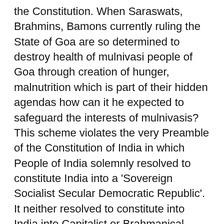the Constitution. When Saraswats, Brahmins, Bamons currently ruling the State of Goa are so determined to destroy health of mulnivasi people of Goa through creation of hunger, malnutrition which is part of their hidden agendas how can it he expected to safeguard the interests of mulnivasis? This scheme violates the very Preamble of the Constitution of India in which People of India solemnly resolved to constitute India into a 'Sovereign Socialist Secular Democratic Republic'. It neither resolved to constitute into India into Capitalist or Brahmanical Republic. Yet in practice this is an agenda that is being pursued in a systematic manner. The scheme under discussion here is part of this agenda. For Socialist agenda to follow as required by the Preamble of the Constitution itself there is no need to involve private companies like ICICI Lombard. This is a negation of the Constitution of India. Health is a right that People of India are